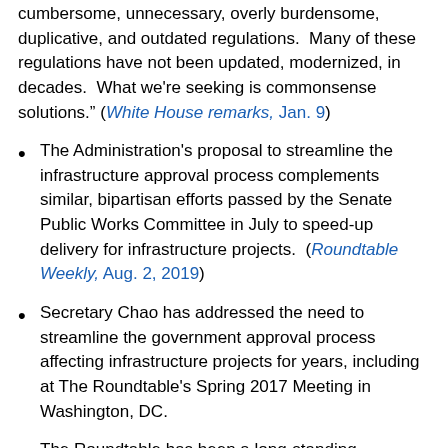cumbersome, unnecessary, overly burdensome, duplicative, and outdated regulations.  Many of these regulations have not been updated, modernized, in decades.  What we're seeking is commonsense solutions." (White House remarks, Jan. 9)
The Administration's proposal to streamline the infrastructure approval process complements similar, bipartisan efforts passed by the Senate Public Works Committee in July to speed-up delivery for infrastructure projects.  (Roundtable Weekly, Aug. 2, 2019)
Secretary Chao has addressed the need to streamline the government approval process affecting infrastructure projects for years, including at The Roundtable's Spring 2017 Meeting in Washington, DC.
The Roundtable has been a long-standing advocate of increased national infrastructure investment to